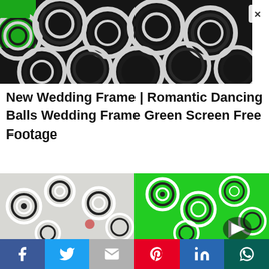[Figure (photo): Black and white striped decorative balls with green screen background, top banner image with close (X) button]
New Wedding Frame | Romantic Dancing Balls Wedding Frame Green Screen Free Footage
[Figure (photo): Black and white striped dancing balls on left (real scene) and right (green screen background), with a play button triangle icon]
Social share bar with Facebook, Twitter, Gmail/Email, Pinterest, LinkedIn, WhatsApp icons